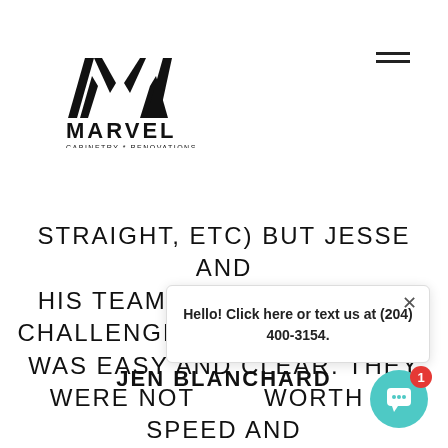[Figure (logo): Marvel Cabinetry & Renovations logo — stylized M mark above text MARVEL CABINETRY * RENOVATIONS]
STRAIGHT, ETC) BUT JESSE AND HIS TEAM MANAGED EVERY CHALLENGE. COMMUNICATION WAS EASY AND CLEAR. THEY WERE NOT... WORTH IT... SPEED AND PROFESSIONALISM.
JEN BLANCHARD
Hello! Click here or text us at (204) 400-3154.